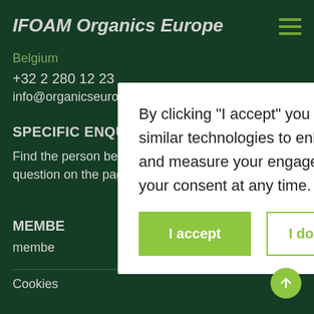IFOAM Organics Europe
Belgium
+32 2 280 12 23
info@organicseurope.bio
SPECIFIC ENQUIRIES
Find the person best suited to reply to your question on the page
MEMBER
member
By clicking “I accept” you agree to the use of cookies and other similar technologies to enhance your browsing experience, analyse and measure your engagement with our content. You can withdraw your consent at any time. You will find more information here.
Cookies